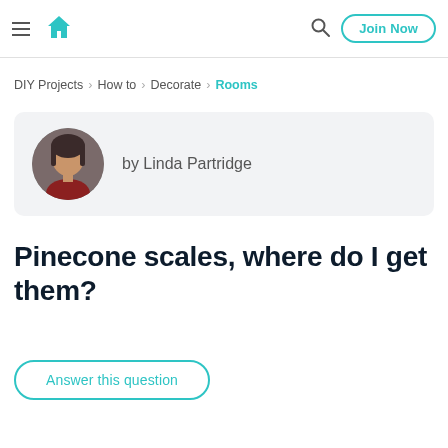DIY home improvement website header with hamburger menu, house logo, search icon, and Join Now button
DIY Projects › How to › Decorate › Rooms
[Figure (photo): Circular profile photo of Linda Partridge, a woman with short dark hair wearing a dark red top]
by Linda Partridge
Pinecone scales, where do I get them?
Answer this question